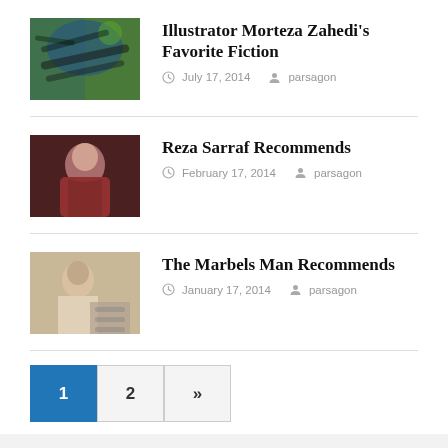[Figure (photo): Colorful abstract artwork thumbnail for Illustrator Morteza Zahedi post]
Illustrator Morteza Zahedi's Favorite Fiction
July 17, 2014   parsagon
[Figure (photo): Photo of a man in red sweater for Reza Sarraf post]
Reza Sarraf Recommends
February 17, 2014   parsagon
[Figure (photo): Photo of a person for The Marbels Man post]
The Marbels Man Recommends
January 17, 2014   parsagon
1
2
»
SEARCH ...